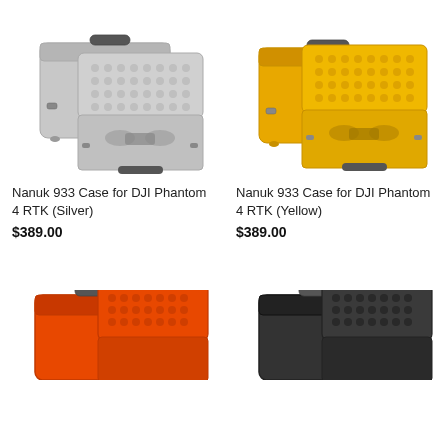[Figure (photo): Nanuk 933 hard case in silver color, shown closed and open with DJI Phantom 4 RTK interior foam]
[Figure (photo): Nanuk 933 hard case in yellow color, shown closed and open with DJI Phantom 4 RTK interior foam]
Nanuk 933 Case for DJI Phantom 4 RTK (Silver)
$389.00
Nanuk 933 Case for DJI Phantom 4 RTK (Yellow)
$389.00
[Figure (photo): Nanuk 933 hard case in orange color, partially visible at bottom of page]
[Figure (photo): Nanuk 933 hard case in black color, partially visible at bottom of page]